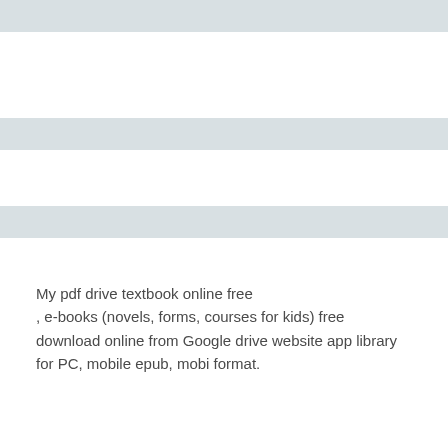My pdf drive textbook online free
, e-books (novels, forms, courses for kids) free download online from Google drive website app library for PC, mobile epub, mobi format.